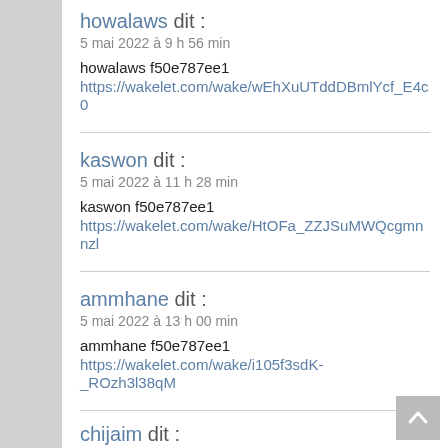howalaws dit :
5 mai 2022 à 9 h 56 min
howalaws f50e787ee1
https://wakelet.com/wake/wEhXuUTddDBmlYcf_E4c0
kaswon dit :
5 mai 2022 à 11 h 28 min
kaswon f50e787ee1
https://wakelet.com/wake/HtOFa_ZZJSuMWQcgmnnzl
ammhane dit :
5 mai 2022 à 13 h 00 min
ammhane f50e787ee1
https://wakelet.com/wake/i105f3sdK-_ROzh3l38qM
chijaim dit :